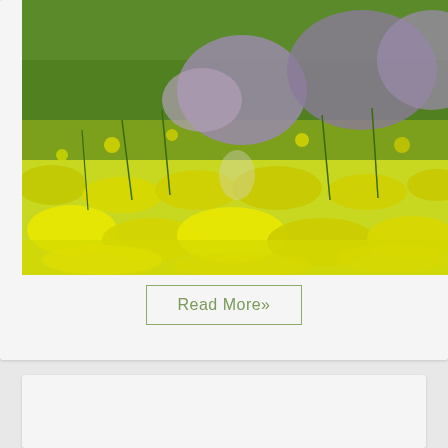[Figure (photo): Field of bright yellow flowers (rapeseed/canola) with large purple-grey boulders in the background, photographed from ground level]
Read More»
Contra light
MAI 23
IMAGE  posted by  MARC GRAF / 0 comments